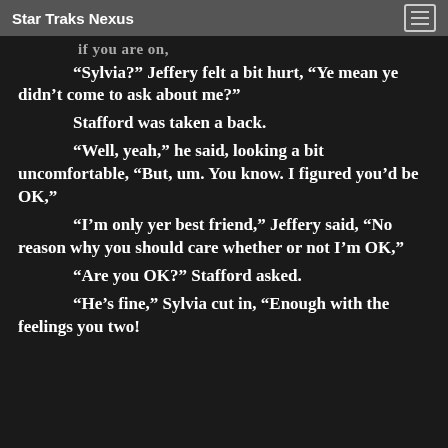Star Traks Nexus
“Sylvia?” Jeffery felt a bit hurt, “Ye mean ye didn’t come to ask about me?”
Stafford was taken a back.
“Well, yeah,” he said, looking a bit uncomfortable, “But, um. You know. I figured you’d be OK,”
“I’m only yer best friend,” Jeffery said, “No reason why you should care whether or not I’m OK,”
“Are you OK?” Stafford asked.
“He’s fine,” Sylvia cut in, “Enough with the feelings you two!